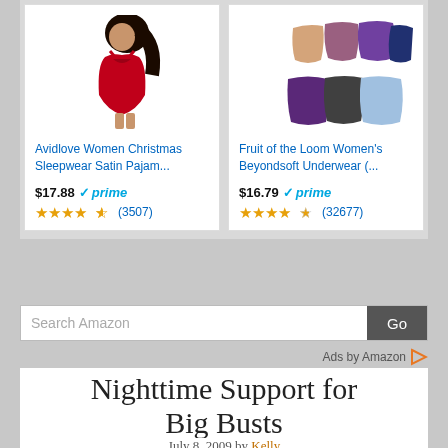[Figure (screenshot): Amazon product card: Avidlove Women Christmas Sleepwear Satin Pajam... $17.88, Prime, 4.5 stars (3507 reviews)]
[Figure (screenshot): Amazon product card: Fruit of the Loom Women's Beyondsoft Underwear (... $16.79, Prime, 4.5 stars (32677 reviews)]
Search Amazon
Ads by Amazon
Nighttime Support for Big Busts
July 8, 2009 by Kelly